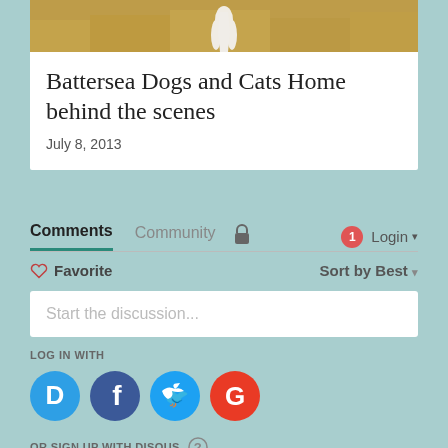[Figure (photo): Photo of a dog on dry grassland background, partially visible at top of card]
Battersea Dogs and Cats Home behind the scenes
July 8, 2013
Comments
Community
Login
♡ Favorite
Sort by Best ▾
Start the discussion...
LOG IN WITH
[Figure (logo): Disqus logo circle (D)]
[Figure (logo): Facebook logo circle (f)]
[Figure (logo): Twitter logo circle (bird)]
[Figure (logo): Google logo circle (G)]
OR SIGN UP WITH DISQUS ?
Name